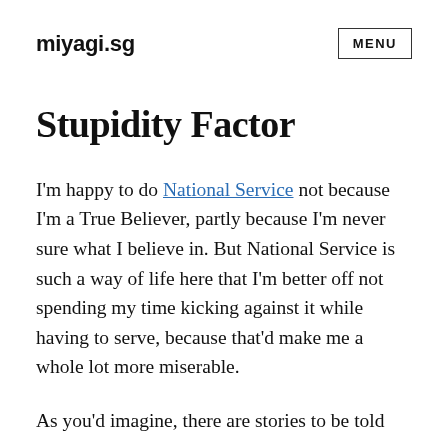miyagi.sg  MENU
Stupidity Factor
I'm happy to do National Service not because I'm a True Believer, partly because I'm never sure what I believe in. But National Service is such a way of life here that I'm better off not spending my time kicking against it while having to serve, because that'd make me a whole lot more miserable.
As you'd imagine, there are stories to be told